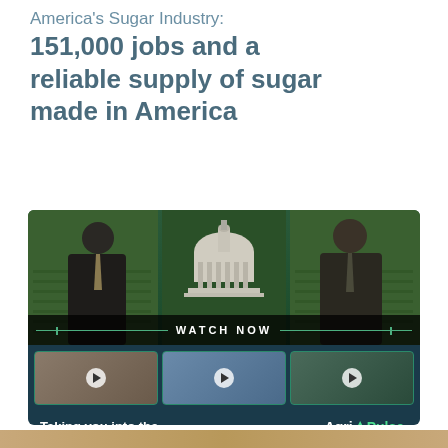America's Sugar Industry: 151,000 jobs and a reliable supply of sugar made in America
[Figure (photo): Agri-Pulse Newsmakers video advertisement showing two men in suits facing each other on a TV studio set with Capitol building and green fields in background, with three video thumbnails below and the tagline 'Taking you into the heart of ag policy.']